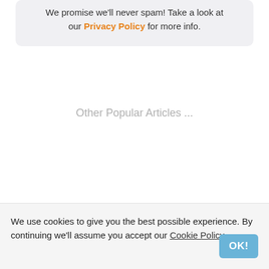We promise we'll never spam! Take a look at our Privacy Policy for more info.
Other Popular Articles ...
We use cookies to give you the best possible experience. By continuing we'll assume you accept our Cookie Policy